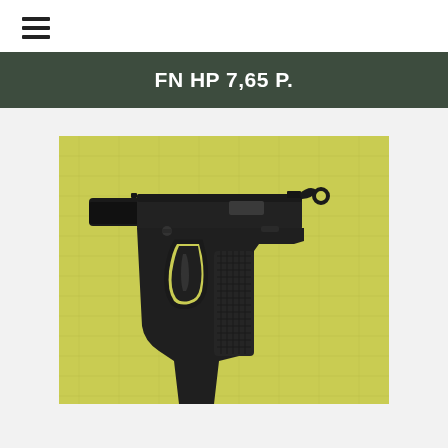☰
FN HP 7,65 P.
[Figure (photo): Photograph of a FN HP 7.65 P. pistol (dark/black finish) shown in left profile view, resting on a yellow-green fabric background.]